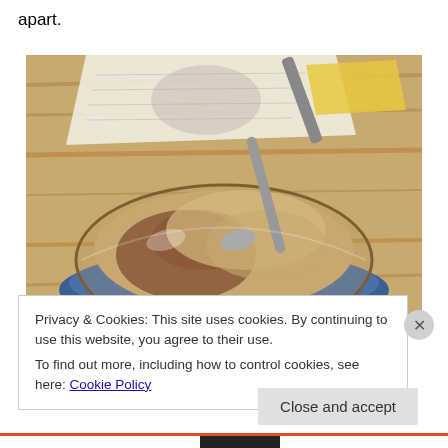apart.
[Figure (photo): A glass bowl or ramekin filled with a creamy chocolate dessert (possibly a mousse or pudding) with a spoon resting in it, placed on a blue saucer on a wooden table. A menu or paper is visible in the background.]
Privacy & Cookies: This site uses cookies. By continuing to use this website, you agree to their use.
To find out more, including how to control cookies, see here: Cookie Policy
Close and accept